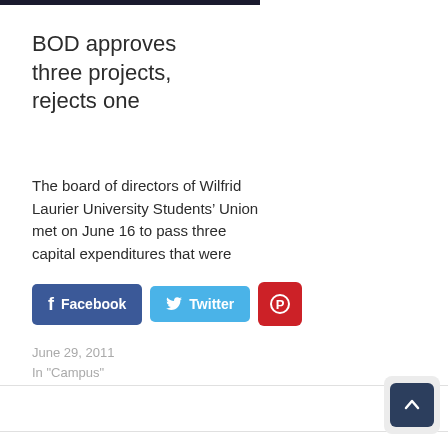BOD approves three projects, rejects one
The board of directors of Wilfrid Laurier University Students’ Union met on June 16 to pass three capital expenditures that were
June 29, 2011
In "Campus"
[Figure (other): Social sharing buttons: Facebook (dark blue), Twitter (light blue), Pinterest (red with P icon)]
[Figure (other): Scroll-to-top button: dark navy square with upward arrow, inside light grey rounded rectangle]